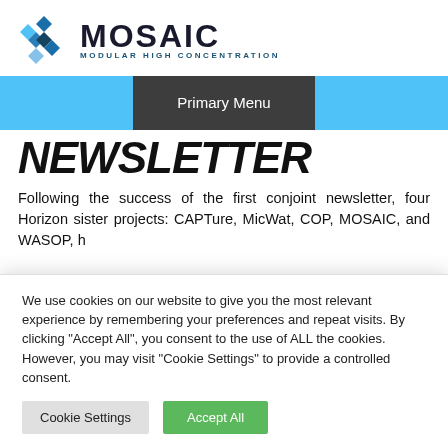[Figure (logo): MOSAIC Modular High Concentration logo with hexagonal blue geometric icon]
Primary Menu
NEWSLETTER
Following the success of the first conjoint newsletter, four Horizon sister projects: CAPTure, MicWat, COP, MOSAIC, and WASOP, h...
We use cookies on our website to give you the most relevant experience by remembering your preferences and repeat visits. By clicking "Accept All", you consent to the use of ALL the cookies. However, you may visit "Cookie Settings" to provide a controlled consent.